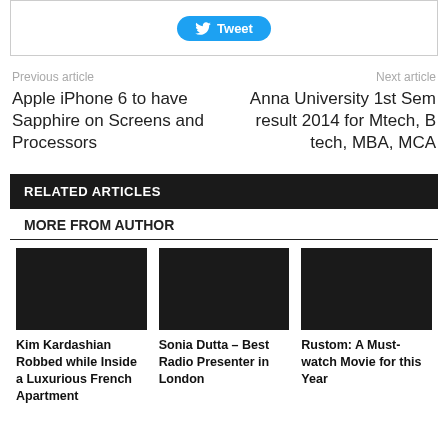[Figure (other): Twitter Tweet button UI element]
Previous article
Next article
Apple iPhone 6 to have Sapphire on Screens and Processors
Anna University 1st Sem result 2014 for Mtech, B tech, MBA, MCA
RELATED ARTICLES
MORE FROM AUTHOR
[Figure (photo): Article thumbnail: Kim Kardashian Robbed while Inside a Luxurious French Apartment]
[Figure (photo): Article thumbnail: Sonia Dutta – Best Radio Presenter in London]
[Figure (photo): Article thumbnail: Rustom: A Must-watch Movie for this Year]
Kim Kardashian Robbed while Inside a Luxurious French Apartment
Sonia Dutta – Best Radio Presenter in London
Rustom: A Must-watch Movie for this Year